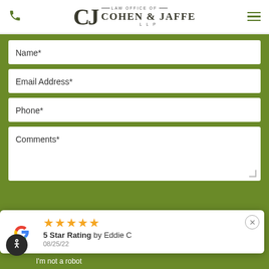[Figure (logo): Law Office of Cohen & Jaffe LLP logo with stylized CJ monogram]
Name*
Email Address*
Phone*
Comments*
[Figure (infographic): Google review popup showing 5 star rating by Eddie C, dated 08/25/22]